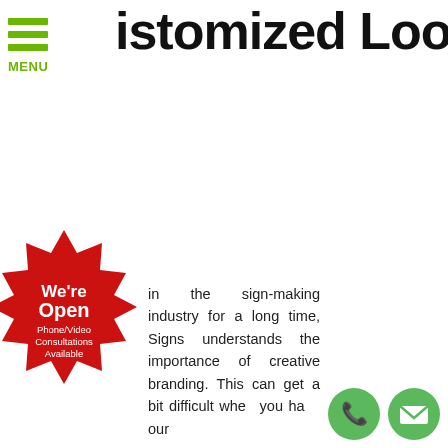MENU
istomized Look
[Figure (infographic): Red starburst badge with text: We're Open Phone/Video Consultations Available]
in the sign-making industry for a long time, Signs understands the importance of creative branding. This can get a bit difficult when you have your
[Figure (infographic): Green circle phone icon and green circle email/envelope icon]